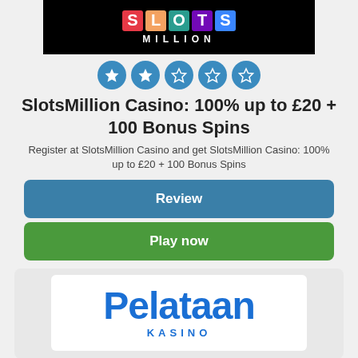[Figure (logo): SlotsMillion Casino logo - colorful 'SLOTS' letters on black background with 'MILLION' text below in white]
[Figure (other): 5-star rating display with 2 filled blue stars and 3 empty blue stars]
SlotsMillion Casino: 100% up to £20 + 100 Bonus Spins
Register at SlotsMillion Casino and get SlotsMillion Casino: 100% up to £20 + 100 Bonus Spins
Review
Play now
[Figure (logo): Pelataan Kasino logo - blue bold text 'Pelataan' with 'KASINO' subtitle below, on white rounded rectangle background]